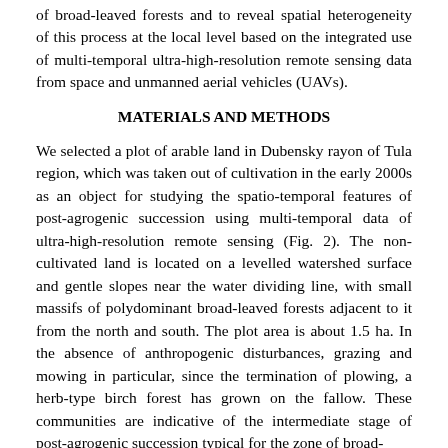of broad-leaved forests and to reveal spatial heterogeneity of this process at the local level based on the integrated use of multi-temporal ultra-high-resolution remote sensing data from space and unmanned aerial vehicles (UAVs).
MATERIALS AND METHODS
We selected a plot of arable land in Dubensky rayon of Tula region, which was taken out of cultivation in the early 2000s as an object for studying the spatio-temporal features of post-agrogenic succession using multi-temporal data of ultra-high-resolution remote sensing (Fig. 2). The non-cultivated land is located on a levelled watershed surface and gentle slopes near the water dividing line, with small massifs of polydominant broad-leaved forests adjacent to it from the north and south. The plot area is about 1.5 ha. In the absence of anthropogenic disturbances, grazing and mowing in particular, since the termination of plowing, a herb-type birch forest has grown on the fallow. These communities are indicative of the intermediate stage of post-agrogenic succession typical for the zone of broad-